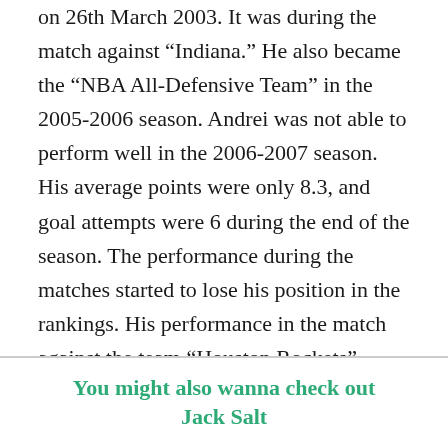on 26th March 2003. It was during the match against “Indiana.” He also became the “NBA All-Defensive Team” in the 2005-2006 season. Andrei was not able to perform well in the 2006-2007 season. His average points were only 8.3, and goal attempts were 6 during the end of the season. The performance during the matches started to lose his position in the rankings. His performance in the match against the team “Houston Rockets” during the “Playoffs Series” received a lot of criticism.
You might also wanna check out Jack Salt